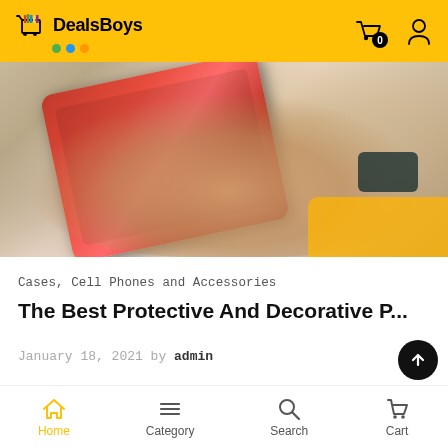DealsBoys
[Figure (photo): Hand holding a red smartphone with a dark smartwatch on the wrist, yellow sleeve visible in background]
Cases, Cell Phones and Accessories
The Best Protective And Decorative P...
January 18, 2021 by admin
[Figure (photo): Partial view of a gray phone case and yellow accessories on a light background]
Home  Category  Search  Cart